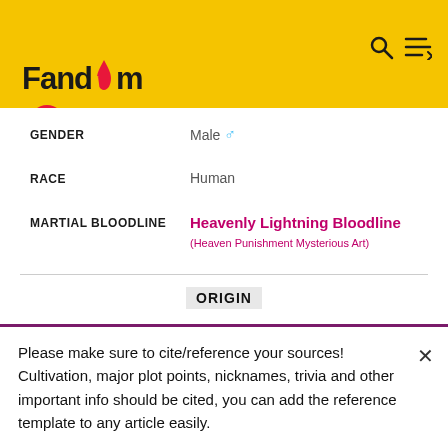Fandom
| Field | Value |
| --- | --- |
| GENDER | Male ♂ |
| RACE | Human |
| MARTIAL BLOODLINE | Heavenly Lightning Bloodline (Heaven Punishment Mysterious Art) |
ORIGIN
| Field | Value |
| --- | --- |
| ORIGIN | Chu Heavenly Clan |
Please make sure to cite/reference your sources! Cultivation, major plot points, nicknames, trivia and other important info should be cited, you can add the reference template to any article easily.